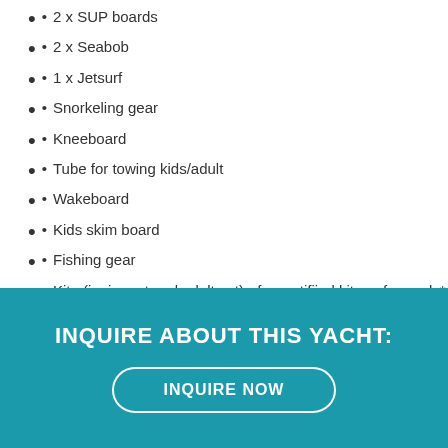• 2 x SUP boards
• 2 x Seabob
• 1 x Jetsurf
• Snorkeling gear
• Kneeboard
• Tube for towing kids/adult
• Wakeboard
• Kids skim board
• Fishing gear
• Kite (junior set and adult set) - for certifiied kitesurfers only*
INQUIRE ABOUT THIS YACHT:
INQUIRE NOW